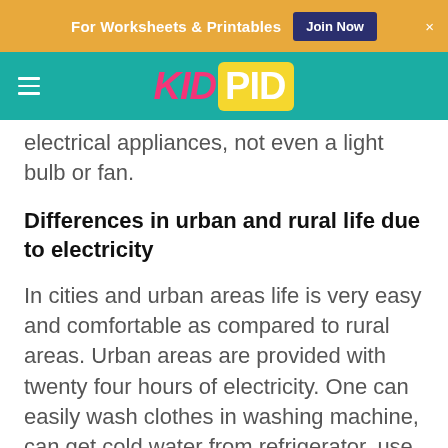For Worksheets & Printables | Join Now
[Figure (logo): KidPid logo with hamburger menu on teal navigation bar]
electrical appliances, not even a light bulb or fan.
Differences in urban and rural life due to electricity
In cities and urban areas life is very easy and comfortable as compared to rural areas. Urban areas are provided with twenty four hours of electricity. One can easily wash clothes in washing machine, can get cold water from refrigerator, use laptops and mobile phones, everything on